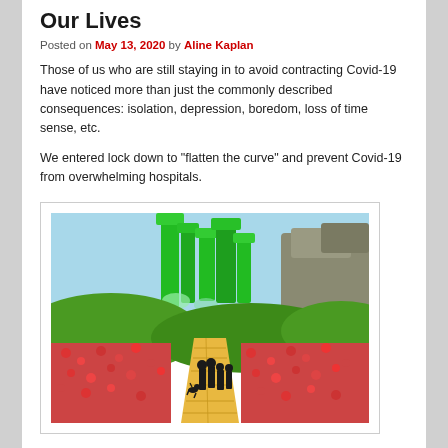Our Lives
Posted on May 13, 2020 by Aline Kaplan
Those of us who are still staying in to avoid contracting Covid-19 have noticed more than just the commonly described consequences: isolation, depression, boredom, loss of time sense, etc.
We entered lock down to "flatten the curve" and prevent Covid-19 from overwhelming hospitals.
[Figure (illustration): Illustration of the Wizard of Oz characters walking along the yellow brick road toward the Emerald City, surrounded by red poppy fields and green landscape.]